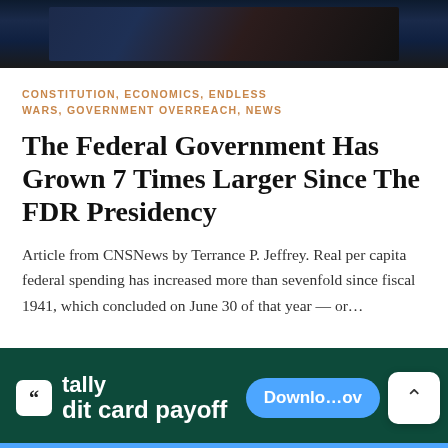[Figure (photo): Dark banner image at top of article page, appears to show a night scene or flag with dark blue and navy tones]
CONSTITUTION, ECONOMICS, ENDLESS WARS, GOVERNMENT OVERREACH, NEWS
The Federal Government Has Grown 7 Times Larger Since The FDR Presidency
Article from CNSNews by Terrance P. Jeffrey. Real per capita federal spending has increased more than sevenfold since fiscal 1941, which concluded on June 30 of that year — or…
[Figure (screenshot): Tally credit card payoff advertisement banner with dark green background, Tally logo, and blue Download Now button]